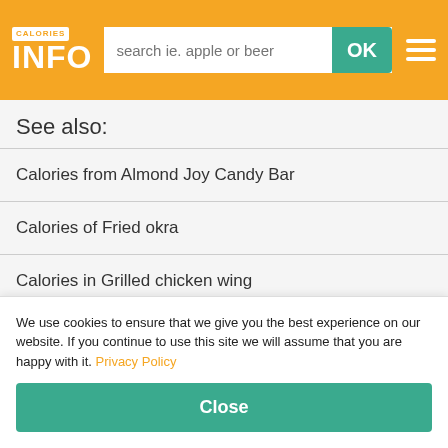CALORIES INFO [search bar] OK [menu]
See also:
Calories from Almond Joy Candy Bar
Calories of Fried okra
Calories in Grilled chicken wing
Boiled kale calories per 100g
Frozen peas carbs per 100g
Water protein per 100g
Green pepper fat per 100g
We use cookies to ensure that we give you the best experience on our website. If you continue to use this site we will assume that you are happy with it. Privacy Policy
Close
Read this.